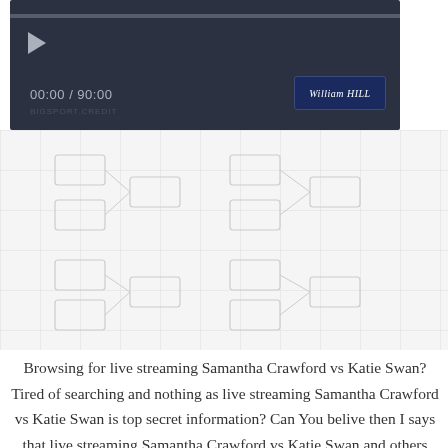[Figure (screenshot): Video player with dark background showing time 00:00 / 90:00 and William Hill logo badge. Progress bar at top, play button on left.]
[Figure (other): Light gray grid/bracket diagram background section]
Browsing for live streaming Samantha Crawford vs Katie Swan? Tired of searching and nothing as live streaming Samantha Crawford vs Katie Swan is top secret information? Can You belive then I says that live streaming Samantha Crawford vs Katie Swan and others stream live simply waits You on a single website, specialized on the stream live? Great news! live streaming Samantha Crawford vs Katie Swan is no longer a problem! Live Samantha Crawford vs Katie Swan on Yours perconal computers desktop. Don't miss epic battle